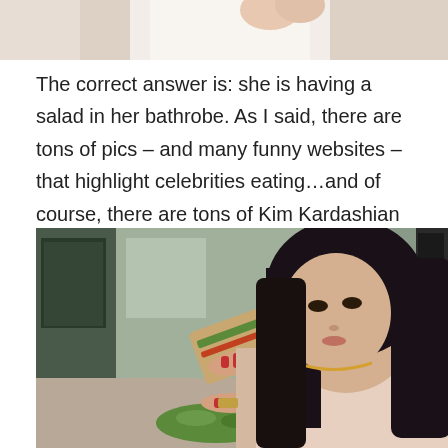[Figure (photo): Cropped photo at top of page showing a person in a white bathrobe, only lower portion visible]
The correct answer is: she is having a salad in her bathrobe. As I said, there are tons of pics – and many funny websites – that highlight celebrities eating…and of course, there are tons of Kim Kardashian dining photos to gawk at – like these for starters:
[Figure (photo): Photo of Kim Kardashian with long dark hair, wearing a sleeveless top and gold necklace, eating a sandwich or wrap at a restaurant or cafe, looking down at her food with red nail polish visible]